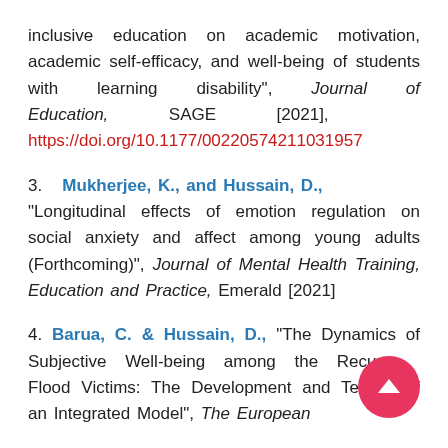inclusive education on academic motivation, academic self-efficacy, and well-being of students with learning disability", Journal of Education, SAGE [2021], https://doi.org/10.1177/00220574211031957
3. Mukherjee, K., and Hussain, D., "Longitudinal effects of emotion regulation on social anxiety and affect among young adults (Forthcoming)", Journal of Mental Health Training, Education and Practice, Emerald [2021]
4. Barua, C. & Hussain, D., "The Dynamics of Subjective Well-being among the Recurrent Flood Victims: The Development and Testing of an Integrated Model", The European